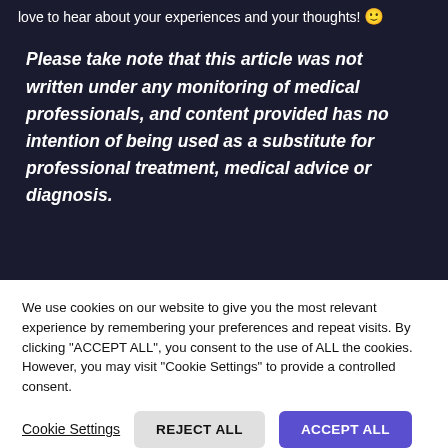love to hear about your experiences and your thoughts! 🙂
Please take note that this article was not written under any monitoring of medical professionals, and content provided has no intention of being used as a substitute for professional treatment, medical advice or diagnosis.
We use cookies on our website to give you the most relevant experience by remembering your preferences and repeat visits. By clicking "ACCEPT ALL", you consent to the use of ALL the cookies. However, you may visit "Cookie Settings" to provide a controlled consent.